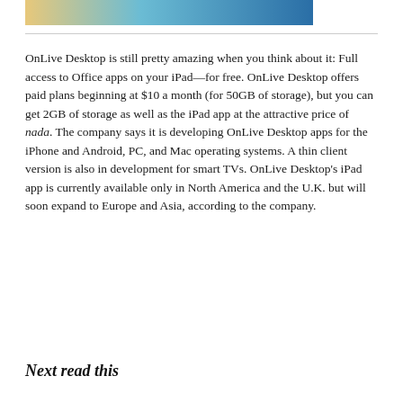[Figure (photo): Partial image strip at the top of the page showing a cropped photograph with blue and warm tones]
OnLive Desktop is still pretty amazing when you think about it: Full access to Office apps on your iPad—for free. OnLive Desktop offers paid plans beginning at $10 a month (for 50GB of storage), but you can get 2GB of storage as well as the iPad app at the attractive price of nada. The company says it is developing OnLive Desktop apps for the iPhone and Android, PC, and Mac operating systems. A thin client version is also in development for smart TVs. OnLive Desktop's iPad app is currently available only in North America and the U.K. but will soon expand to Europe and Asia, according to the company.
Next read this